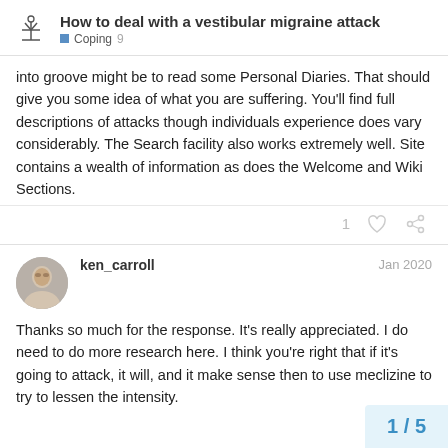How to deal with a vestibular migraine attack | Coping 9
into groove might be to read some Personal Diaries. That should give you some idea of what you are suffering. You'll find full descriptions of attacks though individuals experience does vary considerably. The Search facility also works extremely well. Site contains a wealth of information as does the Welcome and Wiki Sections.
ken_carroll Jan 2020 Thanks so much for the response. It's really appreciated. I do need to do more research here. I think you're right that if it's going to attack, it will, and it make sense then to use meclizine to try to lessen the intensity.
1 / 5